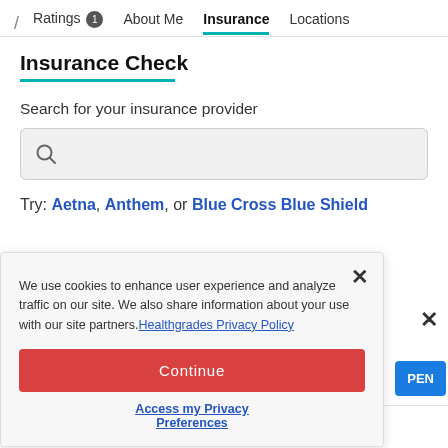/ Ratings 1  About Me  Insurance  Locations
Insurance Check
Search for your insurance provider
[Figure (screenshot): Search input box with magnifying glass icon]
Try: Aetna, Anthem, or Blue Cross Blue Shield
We use cookies to enhance user experience and analyze traffic on our site. We also share information about your use with our site partners. Healthgrades Privacy Policy
Continue
Access my Privacy Preferences